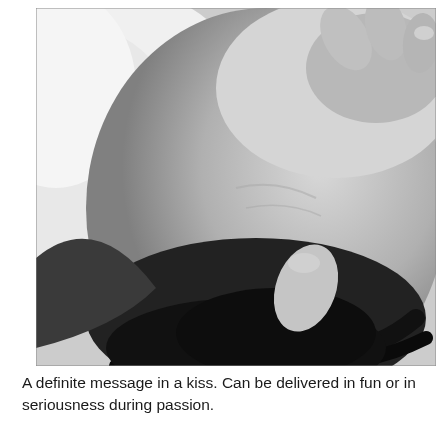[Figure (photo): Black and white close-up photograph of a person's neck and shoulder area, with dark hair visible and a hand grasping near the neck/hair. The image is intimate and artistic in nature.]
A definite message in a kiss. Can be delivered in fun or in seriousness during passion.